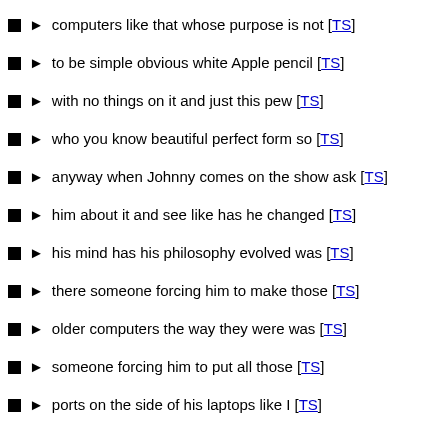computers like that whose purpose is not [TS]
to be simple obvious white Apple pencil [TS]
with no things on it and just this pew [TS]
who you know beautiful perfect form so [TS]
anyway when Johnny comes on the show ask [TS]
him about it and see like has he changed [TS]
his mind has his philosophy evolved was [TS]
there someone forcing him to make those [TS]
older computers the way they were was [TS]
someone forcing him to put all those [TS]
ports on the side of his laptops like I [TS]